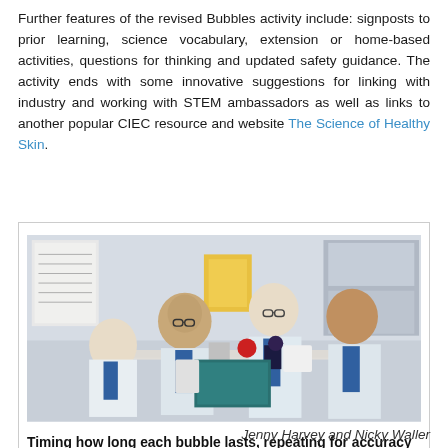Further features of the revised Bubbles activity include: signposts to prior learning, science vocabulary, extension or home-based activities, questions for thinking and updated safety guidance. The activity ends with some innovative suggestions for linking with industry and working with STEM ambassadors as well as links to another popular CIEC resource and website The Science of Healthy Skin.
[Figure (photo): Four children in white lab coats and blue ties sitting around a table conducting a science experiment, timing how long each bubble lasts.]
Timing how long each bubble lasts, repeating for accuracy
Jenny Harvey and Nicky Waller